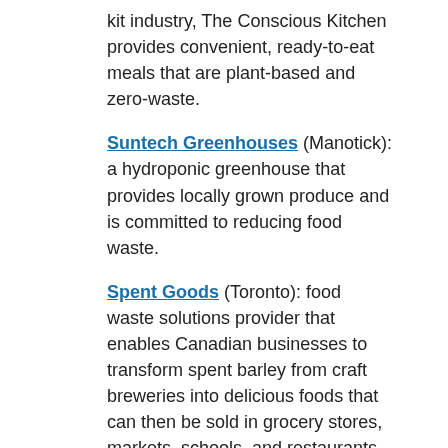kit industry, The Conscious Kitchen provides convenient, ready-to-eat meals that are plant-based and zero-waste.
Suntech Greenhouses (Manotick): a hydroponic greenhouse that provides locally grown produce and is committed to reducing food waste.
Spent Goods (Toronto): food waste solutions provider that enables Canadian businesses to transform spent barley from craft breweries into delicious foods that can then be sold in grocery stores, markets, schools, and restaurants.
Abokichi Inc. (Hamilton): a Japanese inspired food brand that develops innovative and unique products using upcycled ingredients.
Quinta Local Superfoods Inc. (Guelph/Eramosa):